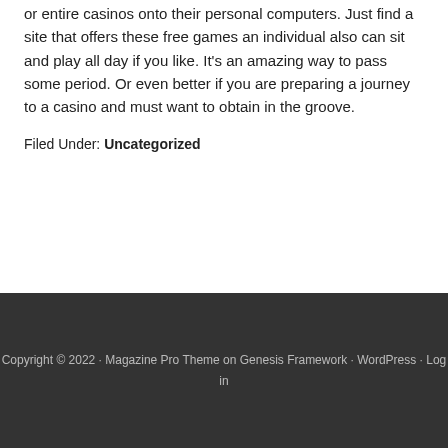or entire casinos onto their personal computers. Just find a site that offers these free games an individual also can sit and play all day if you like. It's an amazing way to pass some period. Or even better if you are preparing a journey to a casino and must want to obtain in the groove.
Filed Under: Uncategorized
Copyright © 2022 · Magazine Pro Theme on Genesis Framework · WordPress · Log in